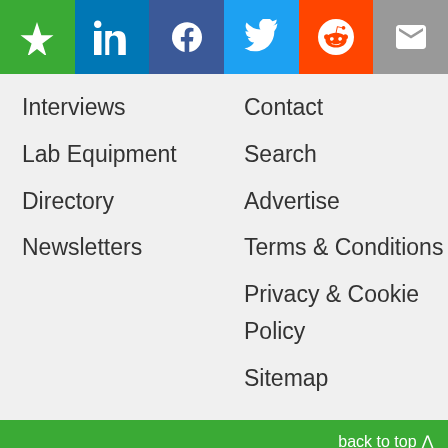[Figure (other): Social media sharing bar with icons: star/bookmark (green), LinkedIn (blue), Facebook (dark blue), Twitter (light blue), Reddit (orange), Email (grey)]
Interviews
Contact
Lab Equipment
Search
Directory
Advertise
Newsletters
Terms & Conditions
Privacy & Cookie Policy
Sitemap
back to top ∧
We use cookies to enhance your experience. By continuing to browse this site you agree to our use of cookies. More info.
✔ Accept
Cookie Settings